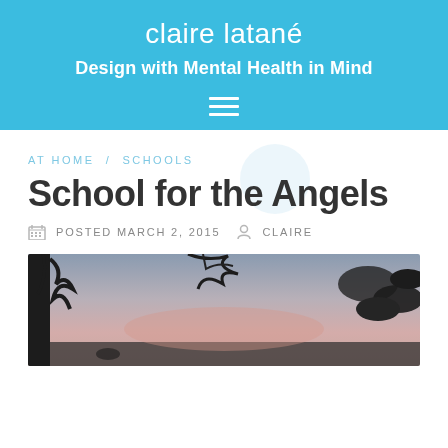claire latané
Design with Mental Health in Mind
AT HOME / SCHOOLS
School for the Angels
POSTED MARCH 2, 2015   CLAIRE
[Figure (photo): Outdoor photo with silhouetted tree branches against a pink and grey sky at dusk]